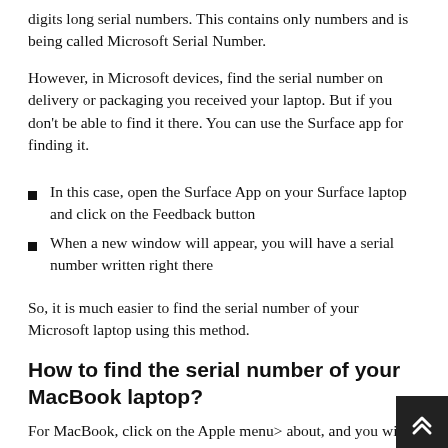digits long serial numbers. This contains only numbers and is being called Microsoft Serial Number.
However, in Microsoft devices, find the serial number on delivery or packaging you received your laptop. But if you don't be able to find it there. You can use the Surface app for finding it.
In this case, open the Surface App on your Surface laptop and click on the Feedback button
When a new window will appear, you will have a serial number written right there
So, it is much easier to find the serial number of your Microsoft laptop using this method.
How to find the serial number of your MacBook laptop?
For MacBook, click on the Apple menu> about, and you will have a piece of complete information regarding your Apple laptop. It includes the model number of the laptop, serial number, processor, and memory information. Also, for more